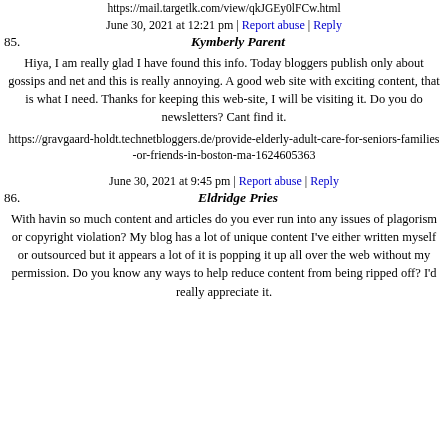https://mail.targetlk.com/view/qkJGEy0lFCw.html
June 30, 2021 at 12:21 pm | Report abuse | Reply
85. Kymberly Parent
Hiya, I am really glad I have found this info. Today bloggers publish only about gossips and net and this is really annoying. A good web site with exciting content, that is what I need. Thanks for keeping this web-site, I will be visiting it. Do you do newsletters? Cant find it.
https://gravgaard-holdt.technetbloggers.de/provide-elderly-adult-care-for-seniors-families-or-friends-in-boston-ma-1624605363
June 30, 2021 at 9:45 pm | Report abuse | Reply
86. Eldridge Pries
With havin so much content and articles do you ever run into any issues of plagorism or copyright violation? My blog has a lot of unique content I've either written myself or outsourced but it appears a lot of it is popping it up all over the web without my permission. Do you know any ways to help reduce content from being ripped off? I'd really appreciate it.